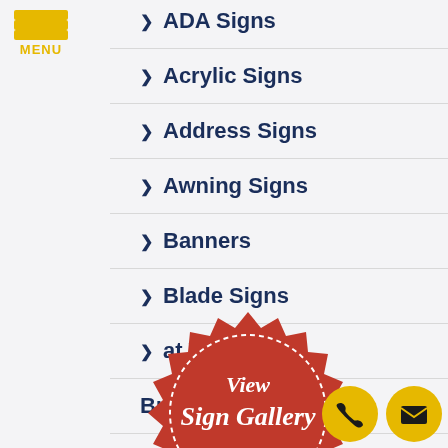[Figure (logo): Hamburger menu icon with three gold horizontal bars and MENU label below]
ADA Signs
Acrylic Signs
Address Signs
Awning Signs
Banners
Blade Signs
Boat Wraps
Building Signs
Bus Wraps
[Figure (illustration): Red badge/seal with white dashed border, text 'View Sign Gallery' in white script, gold ribbon banner at bottom reading 'CLICK HERE']